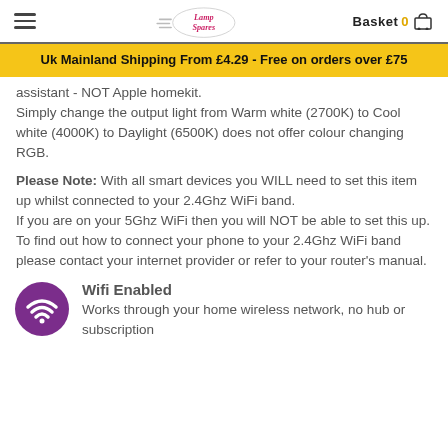LampSpares | Basket 0
Uk Mainland Shipping From £4.29 - Free on orders over £75
assistant - NOT Apple homekit.
Simply change the output light from Warm white (2700K) to Cool white (4000K) to Daylight (6500K) does not offer colour changing RGB.
Please Note: With all smart devices you WILL need to set this item up whilst connected to your 2.4Ghz WiFi band.
If you are on your 5Ghz WiFi then you will NOT be able to set this up.
To find out how to connect your phone to your 2.4Ghz WiFi band please contact your internet provider or refer to your router's manual.
Wifi Enabled
Works through your home wireless network, no hub or subscription